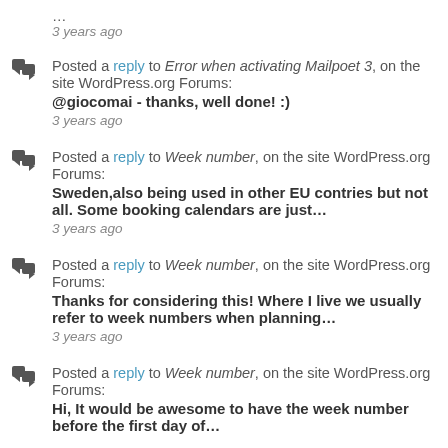...
3 years ago
Posted a reply to Error when activating Mailpoet 3, on the site WordPress.org Forums:
@giocomai - thanks, well done! :)
3 years ago
Posted a reply to Week number, on the site WordPress.org Forums:
Sweden,also being used in other EU contries but not all. Some booking calendars are just...
3 years ago
Posted a reply to Week number, on the site WordPress.org Forums:
Thanks for considering this! Where I live we usually refer to week numbers when planning…
3 years ago
Posted a reply to Week number, on the site WordPress.org Forums:
Hi, It would be awesome to have the week number before the first day of…